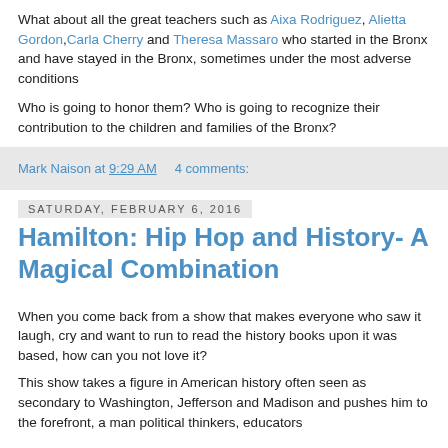What about all the great teachers such as Aixa Rodriguez, Alietta Gordon,Carla Cherry and Theresa Massaro who started in the Bronx and have stayed in the Bronx, sometimes under the most adverse conditions
Who is going to honor them? Who is going to recognize their contribution to the children and families of the Bronx?
Mark Naison at 9:29 AM   4 comments:
Saturday, February 6, 2016
Hamilton: Hip Hop and History- A Magical Combination
When you come back from a show that makes everyone who saw it laugh, cry and want to run to read the history books upon it was based, how can you not love it?
This show takes a figure in American history often seen as secondary to Washington, Jefferson and Madison and pushes him to the forefront...